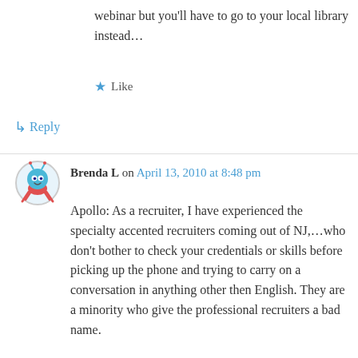webinar but you’ll have to go to your local library instead…
★ Like
↳ Reply
Brenda L on April 13, 2010 at 8:48 pm
Apollo: As a recruiter, I have experienced the specialty accented recruiters coming out of NJ,…who don’t bother to check your credentials or skills before picking up the phone and trying to carry on a conversation in anything other then English. They are a minority who give the professional recruiters a bad name.
Rich: Kudo’s that your jobhuntchat has taken off